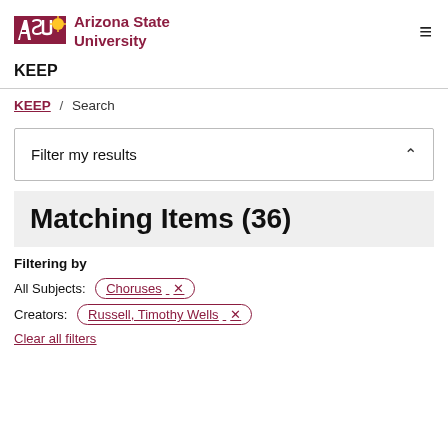[Figure (logo): Arizona State University logo with sunburst icon and ASU text in maroon, followed by 'Arizona State University' text in maroon]
KEEP
KEEP / Search
Filter my results
Matching Items (36)
Filtering by
All Subjects: Choruses ✕
Creators: Russell, Timothy Wells ✕
Clear all filters